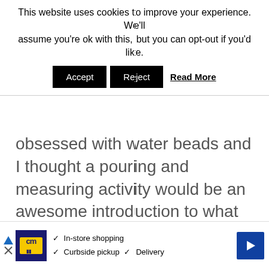This website uses cookies to improve your experience. We'll assume you're ok with this, but you can opt-out if you'd like.
Accept   Reject   Read More
obsessed with water beads and I thought a pouring and measuring activity would be an awesome introduction to what we were already doing.
[Figure (screenshot): Advertisement banner at the bottom of the page showing a store logo with 'cm' text in yellow on dark blue background, checkmarks listing 'In-store shopping', 'Curbside pickup', 'Delivery', and a blue diamond-shaped navigation arrow on the right. Left side has a triangular play/navigation arrow and an X button.]